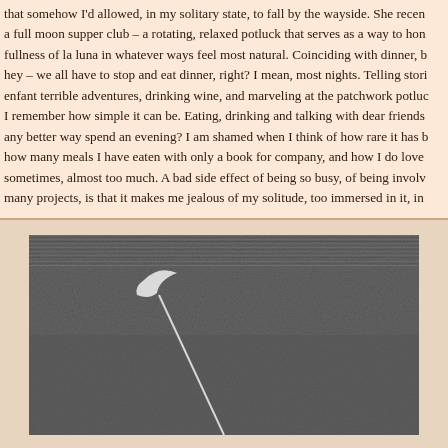that somehow I'd allowed, in my solitary state, to fall by the wayside. She recently started a full moon supper club – a rotating, relaxed potluck that serves as a way to honor the fullness of la luna in whatever ways feel most natural. Coinciding with dinner, because hey – we all have to stop and eat dinner, right? I mean, most nights. Telling stories of enfant terrible adventures, drinking wine, and marveling at the patchwork potluck spread, I remember how simple it can be. Eating, drinking and talking with dear friends – is there any better way spend an evening? I am shamed when I think of how rare it has been lately, how many meals I have eaten with only a book for company, and how I do love my solitude, sometimes, almost too much. A bad side effect of being so busy, of being involved in so many projects, is that it makes me jealous of my solitude, too immersed in it, in
[Figure (photo): A grainy black and white photograph showing a textured surface, likely night sky or landscape, with a white crescent moon shape visible in the upper-left area and a thin white line (possibly a streak or instrument) extending diagonally downward from it.]